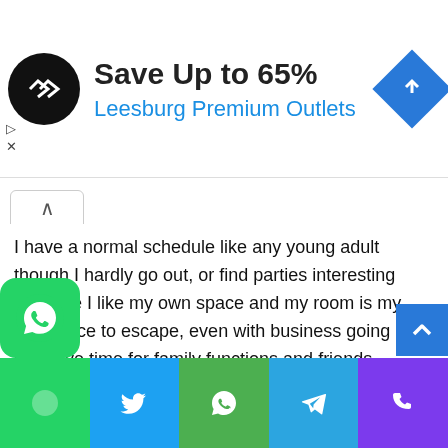[Figure (screenshot): Advertisement banner: black circular logo with double arrow, text 'Save Up to 65%' and 'Leesburg Premium Outlets' in blue, navigation arrow icon on right]
I have a normal schedule like any young adult though I hardly go out, or find parties interesting because I like my own space and my room is my best place to escape, even with business going on I still have time for family functions and friends.
School and work is not a good concoction but I have been strict with myself from the very start, I made a pact with myself in my 2nd year before I started – if I failed or didn't go to the honors class I was going to shut The Arimah down. Yet I persevered and got excellent grades and made it into Honors couldn't be more grateful to God
[Figure (screenshot): Bottom navigation bar with WhatsApp, Twitter, WhatsApp, Telegram, and Phone icons on colored backgrounds]